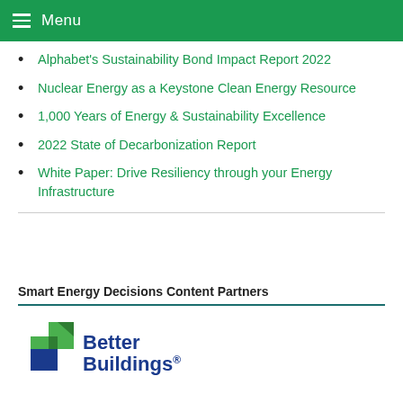Menu
Alphabet's Sustainability Bond Impact Report 2022
Nuclear Energy as a Keystone Clean Energy Resource
1,000 Years of Energy & Sustainability Excellence
2022 State of Decarbonization Report
White Paper: Drive Resiliency through your Energy Infrastructure
Smart Energy Decisions Content Partners
[Figure (logo): Better Buildings logo with green and blue geometric arrow icon and blue bold text reading 'Better Buildings' with registered trademark symbol]